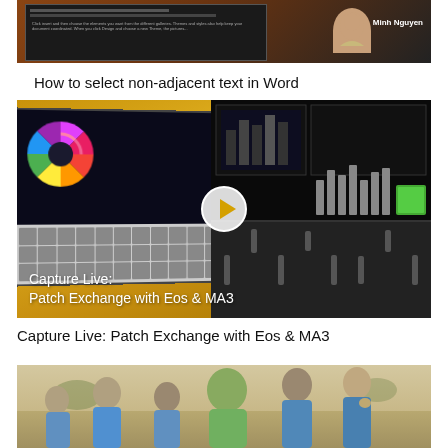[Figure (screenshot): Partially visible thumbnail of a Microsoft Word tutorial video showing a dark interface with a presenter named Minh Nguyen]
How to select non-adjacent text in Word
[Figure (screenshot): Video thumbnail for 'Capture Live: Patch Exchange with Eos & MA3' showing lighting control consoles and software on a yellow/gold background with a play button]
Capture Live: Patch Exchange with Eos & MA3
[Figure (photo): Partially visible photo showing a group of children/students in blue uniforms outdoors]